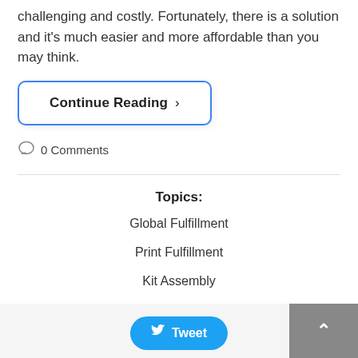challenging and costly. Fortunately, there is a solution and it's much easier and more affordable than you may think.
Continue Reading >
0 Comments
Topics:
Global Fulfillment
Print Fulfillment
Kit Assembly
Tweet